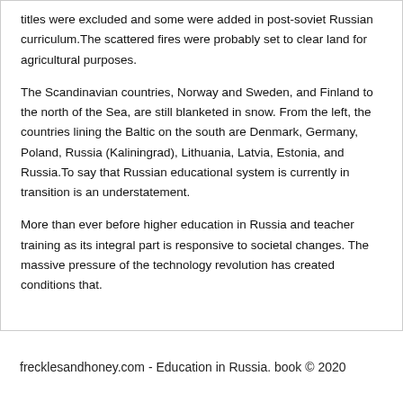titles were excluded and some were added in post-soviet Russian curriculum.The scattered fires were probably set to clear land for agricultural purposes.
The Scandinavian countries, Norway and Sweden, and Finland to the north of the Sea, are still blanketed in snow. From the left, the countries lining the Baltic on the south are Denmark, Germany, Poland, Russia (Kaliningrad), Lithuania, Latvia, Estonia, and Russia.To say that Russian educational system is currently in transition is an understatement.
More than ever before higher education in Russia and teacher training as its integral part is responsive to societal changes. The massive pressure of the technology revolution has created conditions that.
frecklesandhoney.com - Education in Russia. book © 2020